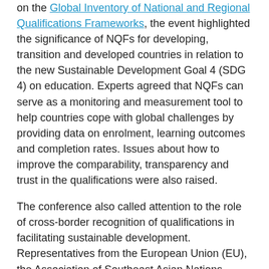on the Global Inventory of National and Regional Qualifications Frameworks, the event highlighted the significance of NQFs for developing, transition and developed countries in relation to the new Sustainable Development Goal 4 (SDG 4) on education. Experts agreed that NQFs can serve as a monitoring and measurement tool to help countries cope with global challenges by providing data on enrolment, learning outcomes and completion rates. Issues about how to improve the comparability, transparency and trust in the qualifications were also raised.
The conference also called attention to the role of cross-border recognition of qualifications in facilitating sustainable development. Representatives from the European Union (EU), the Association of Southeast Asian Nations (ASEAN), the Gulf States, and the Southern African Development Community (SADC) shared experiences of progress made in developing regional qualification frameworks in their various contexts. The UNESCO Institute for Lifelong Learning (UIL) has been working with countries to establish, enhance or adjust their NQFs to their specific contexts and to current policies and practices. In addition, given the importance of NQFs worldwide, UNESCO is exploring the possibility of developing World Reference Levels (WRLs), international guidelines on quality assurance for cross-border recognition of qualifications based on learning outcomes.